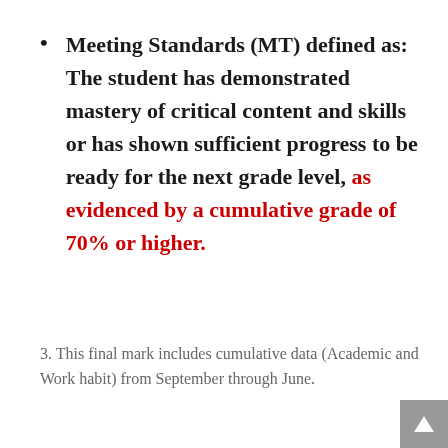Meeting Standards (MT) defined as: The student has demonstrated mastery of critical content and skills or has shown sufficient progress to be ready for the next grade level, as evidenced by a cumulative grade of 70% or higher.
3. This final mark includes cumulative data (Academic and Work habit) from September through June.